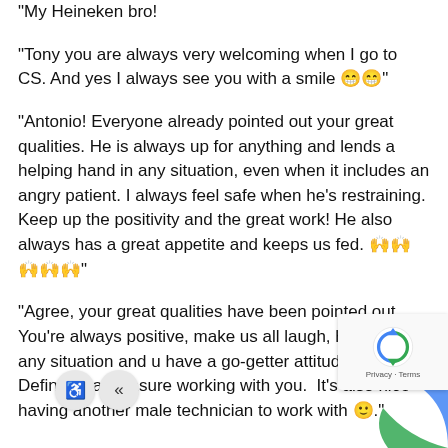“My Heineken bro!
“Tony you are always very welcoming when I go to CS. And yes I always see you with a smile 😁😁”
“Antonio! Everyone already pointed out your great qualities. He is always up for anything and lends a helping hand in any situation, even when it includes an angry patient. I always feel safe when he’s restraining. Keep up the positivity and the great work! He also always has a great appetite and keeps us fed. 🙌🙌🙌🙌🙌”
“Agree, your great qualities have been pointed out.  You’re always positive, make us all laugh, helpful in any situation and u have a go-getter attitude.  Definitely a pleasure working with you.  It’s also nice having another male technician to work with 🙂.”